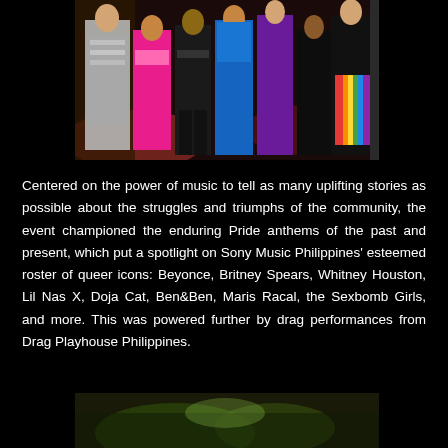[Figure (photo): Group of performers in colorful costumes including sequined outfits, rainbow pants, and black outfits on a lit stage]
Centered on the power of music to tell as many uplifting stories as possible about the struggles and triumphs of the community, the event championed the enduring Pride anthems of the past and present, which put a spotlight on Sony Music Philippines' esteemed roster of queer icons: Beyonce, Britney Spears, Whitney Houston, Lil Nas X, Doja Cat, Ben&Ben, Maris Racal, the Sexbomb Girls, and more. This was powered further by drag performances from Drag Playhouse Philippines.
[Figure (photo): Partial view of performers at bottom of page, dark background with green/yellow tones]